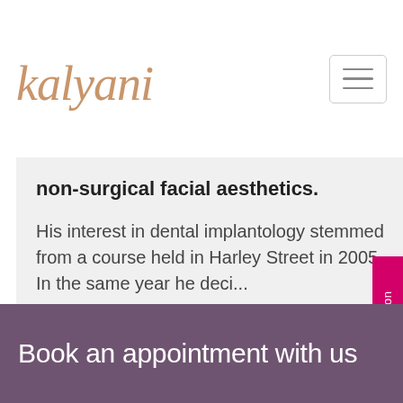[Figure (logo): Kalyani logo in cursive rose-gold script with decorative lines]
non-surgical facial aesthetics.
His interest in dental implantology stemmed from a course held in Harley Street in 2005. In the same year he deci...
Read more
Virtual Consultation
Book an appointment with us